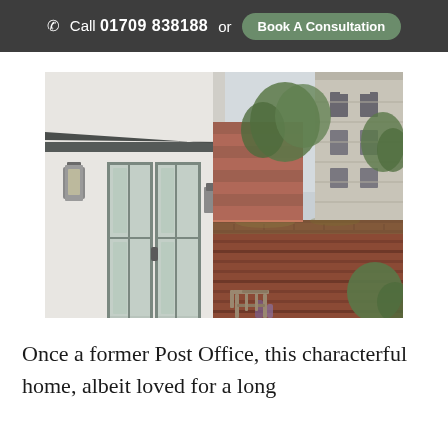Call 01709 838188 or Book A Consultation
[Figure (photo): Exterior photo of a white-rendered house with grey-framed French doors and a wall-mounted light on the left, a red brick garden wall in the middle, and a church tower with trees visible in the background on the right.]
Once a former Post Office, this characterful home, albeit loved for a long